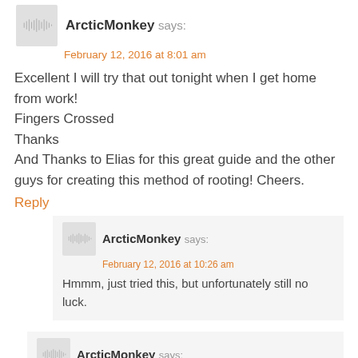ArcticMonkey says:
February 12, 2016 at 8:01 am
Excellent I will try that out tonight when I get home from work!
Fingers Crossed
Thanks
And Thanks to Elias for this great guide and the other guys for creating this method of rooting! Cheers.
Reply
ArcticMonkey says:
February 12, 2016 at 10:26 am
Hmmm, just tried this, but unfortunately still no luck.
ArcticMonkey says:
February 12, 2016 at 10:37 am